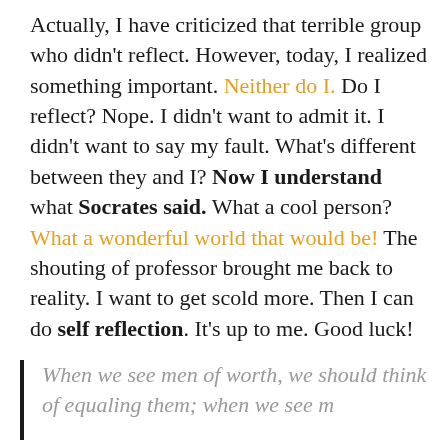Actually, I have criticized that terrible group who didn't reflect. However, today, I realized something important. Neither do I. Do I reflect? Nope. I didn't want to admit it. I didn't want to say my fault. What's different between they and I? Now I understand what Socrates said. What a cool person? What a wonderful world that would be! The shouting of professor brought me back to reality. I want to get scold more. Then I can do self reflection. It's up to me. Good luck!
When we see men of worth, we should think of equaling them; when we see m